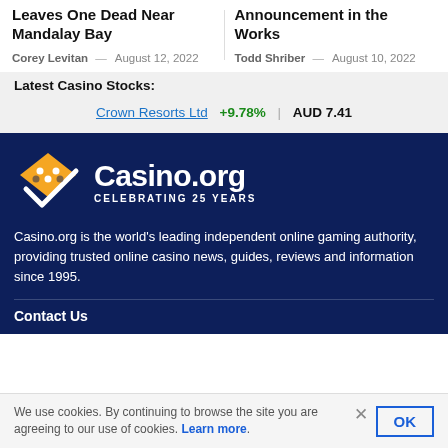Leaves One Dead Near Mandalay Bay
Corey Levitan — August 12, 2022
Announcement in the Works
Todd Shriber — August 10, 2022
Latest Casino Stocks:
Crown Resorts Ltd +9.78% | AUD 7.41
[Figure (logo): Casino.org logo with orange diamond/arrow icon and text 'Casino.org CELEBRATING 25 YEARS' on dark navy background]
Casino.org is the world's leading independent online gaming authority, providing trusted online casino news, guides, reviews and information since 1995.
Contact Us
We use cookies. By continuing to browse the site you are agreeing to our use of cookies. Learn more.